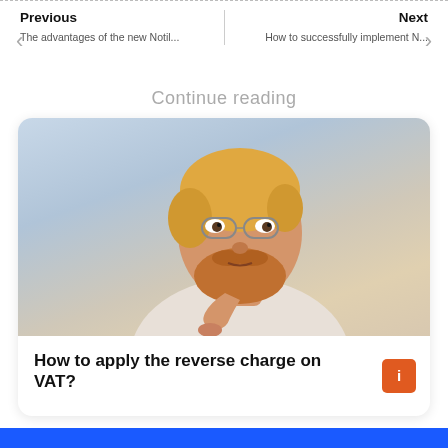Previous | Next
The advantages of the new Notil...
How to successfully implement N...
Continue reading
[Figure (photo): A bearded man with glasses in a thinking pose, wearing a white t-shirt, against a light blue-grey background.]
How to apply the reverse charge on VAT?